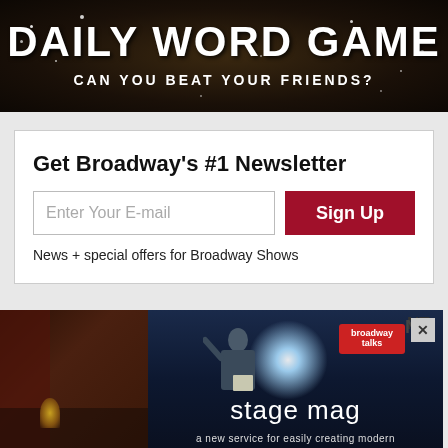[Figure (screenshot): Dark banner with text 'DAILY WORD GAME' and subtitle 'CAN YOU BEAT YOUR FRIENDS?' on a dark background with decorative sparkle dots]
Get Broadway's #1 Newsletter
Enter Your E-mail
Sign Up
News + special offers for Broadway Shows
[Figure (screenshot): Advertisement for 'stage mag - a new service for easily creating modern' showing a person on stage with spotlight and Broadway Talks logo]